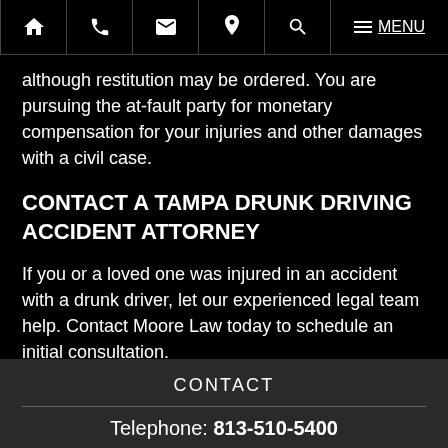Home | Phone | Email | Location | Search | Menu
although restitution may be ordered. You are pursuing the at-fault party for monetary compensation for your injuries and other damages with a civil case.
CONTACT A TAMPA DRUNK DRIVING ACCIDENT ATTORNEY
If you or a loved one was injured in an accident with a drunk driver, let our experienced legal team help. Contact Moore Law today to schedule an initial consultation.
SHARE THIS PAGE: [Facebook] [Twitter] [LinkedIn]
CONTACT
Telephone: 813-510-5400